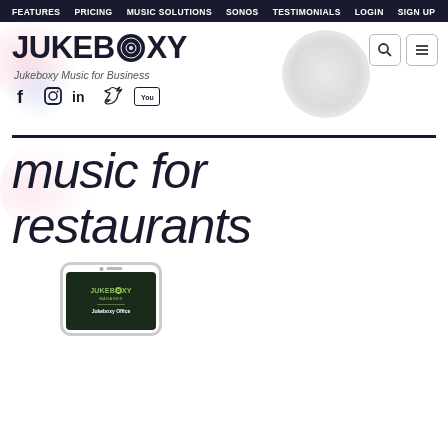FEATURES  PRICING  MUSIC SOLUTIONS  SONOS  TESTIMONIALS  LOGIN  SIGN UP
[Figure (logo): Jukeboxy logo with vinyl record disc replacing the O]
Jukeboxy Music for Business
[Figure (infographic): Social media icons: Facebook, Instagram, LinkedIn, Twitter, YouTube]
music for restaurants
[Figure (screenshot): Smartphone showing Jukeboxy Manager app with Jukeboxy Office screen]